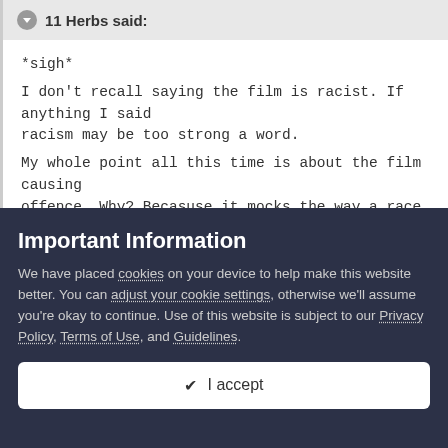11 Herbs said:
*sigh*
I don't recall saying the film is racist. If anything I said racism may be too strong a word.
My whole point all this time is about the film causing offence. Why? Becasuse it mocks the way a race speaks. So am I the only one who can see how some people may be offended by the film? I find that rather hard to believe. Even though you may not agree, surely you can see that?
Yeah, the same people who decreed Christmas must be called
Important Information
We have placed cookies on your device to help make this website better. You can adjust your cookie settings, otherwise we'll assume you're okay to continue. Use of this website is subject to our Privacy Policy, Terms of Use, and Guidelines.
✔ I accept